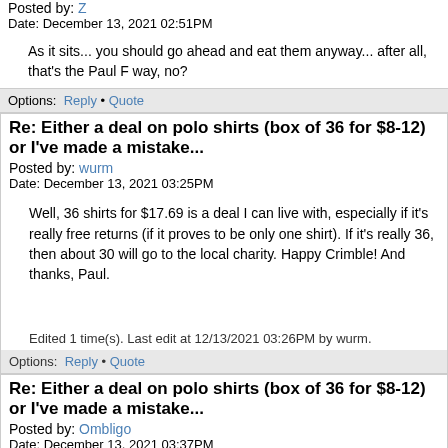Posted by: Z
Date: December 13, 2021 02:51PM
As it sits... you should go ahead and eat them anyway... after all, that's the Paul F way, no?
Options: Reply • Quote
Re: Either a deal on polo shirts (box of 36 for $8-12) or I've made a mistake...
Posted by: wurm
Date: December 13, 2021 03:25PM
Well, 36 shirts for $17.69 is a deal I can live with, especially if it's really free returns (if it proves to be only one shirt). If it's really 36, then about 30 will go to the local charity. Happy Crimble! And thanks, Paul.
Edited 1 time(s). Last edit at 12/13/2021 03:26PM by wurm.
Options: Reply • Quote
Re: Either a deal on polo shirts (box of 36 for $8-12) or I've made a mistake...
Posted by: Ombligo
Date: December 13, 2021 03:37PM
well if it works out then Secret Santa is going to be very blue this